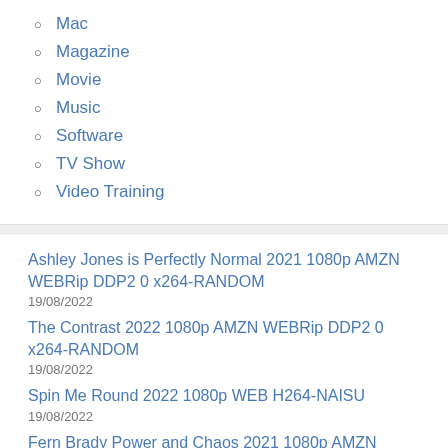Mac
Magazine
Movie
Music
Software
TV Show
Video Training
Ashley Jones is Perfectly Normal 2021 1080p AMZN WEBRip DDP2 0 x264-RANDOM
19/08/2022
The Contrast 2022 1080p AMZN WEBRip DDP2 0 x264-RANDOM
19/08/2022
Spin Me Round 2022 1080p WEB H264-NAISU
19/08/2022
Fern Brady Power and Chaos 2021 1080p AMZN WEBRip DDP2 0 x264-RANDOM